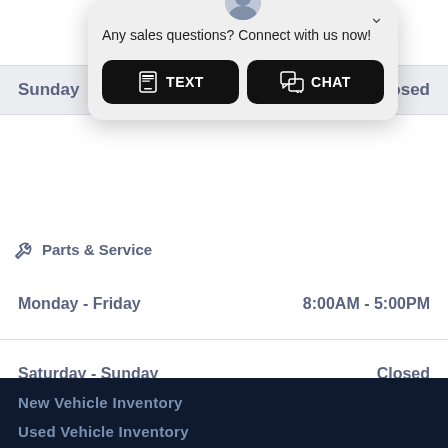Sunday
Closed
[Figure (screenshot): Chat popup widget with avatar, text 'Any sales questions? Connect with us now!', and two buttons: TEXT and CHAT]
Parts & Service
| Day | Hours |
| --- | --- |
| Monday - Friday | 8:00AM - 5:00PM |
| Saturday - Sunday | Closed |
New Vehicle Inventory
Used Vehicle Inventory